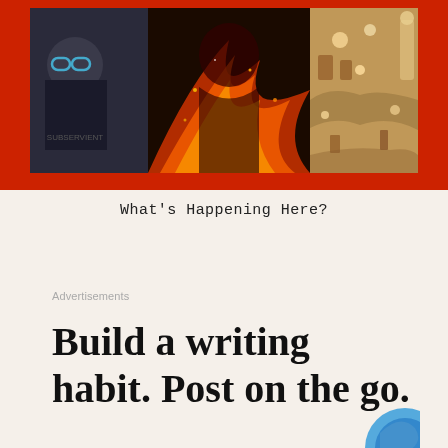[Figure (photo): A red-background artwork display showing a collage of images: a figure with glasses on the left, dramatic fire/volcanic imagery in the center, and a complex detailed painting (resembling Hieronymus Bosch) on the right.]
What's Happening Here?
Advertisements
Build a writing habit. Post on the go.
[Figure (illustration): Partial view of a blue circular icon at the bottom right corner of the page.]